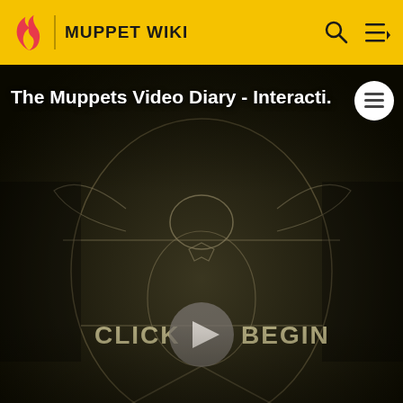MUPPET WIKI
[Figure (screenshot): Video thumbnail showing Kermit the Frog in a Vitruvian Man style illustration with text CLICK BEGIN and a play button. Video title reads: The Muppets Video Diary - Interacti. Duration shows NaN:NaN]
characters have a third arm. When they surrender and are waving white flags, the arm being used is
Welcome to Muppet Wiki!
Please visit Special:Community to learn how you can contribute.